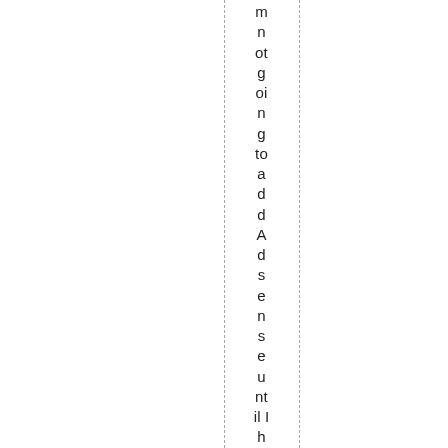m n ot g oi n g to a d d A d s e n s e u nt il I h a v e m or e c o